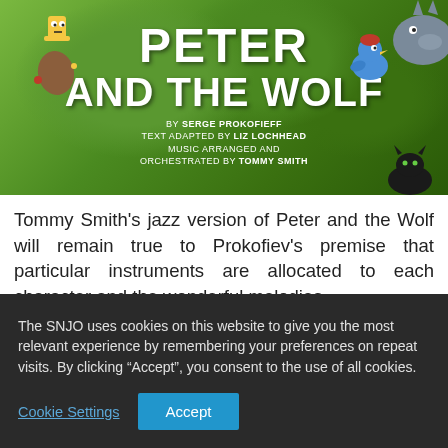[Figure (illustration): Colorful illustrated poster for 'Peter and the Wolf' showing animated cartoon characters (a duck/worm, bird, wolf, cat) against a green leafy background. Title reads 'PETER AND THE WOLF' with credits: BY SERGE PROKOFIEFF, TEXT ADAPTED BY LIZ LOCHHEAD, MUSIC ARRANGED AND ORCHESTRATED BY TOMMY SMITH.]
Tommy Smith's jazz version of Peter and the Wolf will remain true to Prokofiev's premise that particular instruments are allocated to each character and the wonderful melodies
The SNJO uses cookies on this website to give you the most relevant experience by remembering your preferences on repeat visits. By clicking “Accept”, you consent to the use of all cookies.
Cookie Settings
Accept